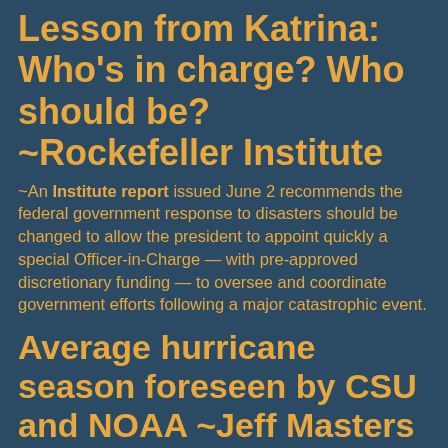Lesson from Katrina: Who's in charge? Who should be? ~Rockefeller Institute
~An Institute report issued June 2 recommends the federal government response to disasters should be changed to allow the president to appoint quickly a special Officer-in-Charge — with pre-approved discretionary funding — to oversee and coordinate government efforts following a major catastrophic event.
Average hurricane season foreseen by CSU and NOAA ~Jeff Masters
Slow-Walking Disaster Response Four Years Later — Has Change...